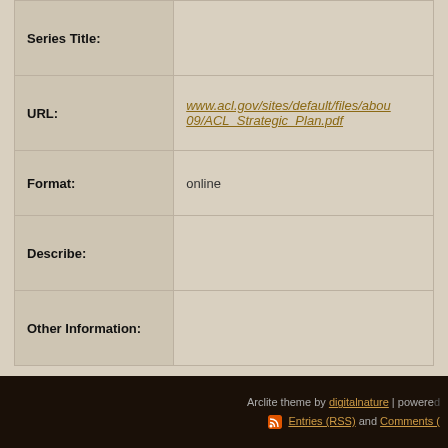| Field | Value |
| --- | --- |
| Series Title: |  |
| URL: | www.acl.gov/sites/default/files/abou09/ACL_Strategic_Plan.pdf |
| Format: | online |
| Describe: |  |
| Other Information: |  |
Tags: Administration for Community Living, HHS, Retirees, Strategic Plan
Arclite theme by digitalnature | powered ... Entries (RSS) and Comments (...)